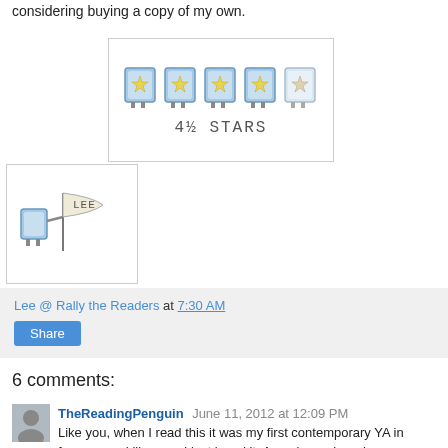considering buying a copy of my own.
[Figure (illustration): Rating image showing 4.5 book/box icons with stars and text '4½ STARS']
[Figure (illustration): Small illustration of a book character holding a flag with 'LEE' written on it]
Lee @ Rally the Readers at 7:30 AM
Share
6 comments:
TheReadingPenguin June 11, 2012 at 12:09 PM
Like you, when I read this it was my first contemporary YA in forever--and like you, I just loved it. Anna is so charming,